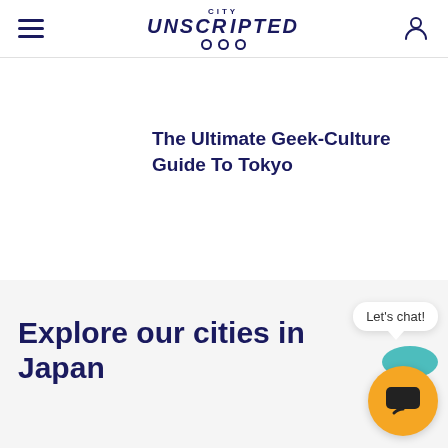City Unscripted
The Ultimate Geek-Culture Guide To Tokyo
Explore our cities in Japan
Let's chat!